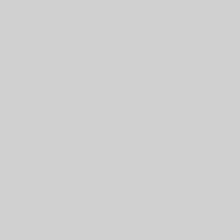| Code | Name | Link |
| --- | --- | --- |
| 0152-01-199 | Moorhead Online Elementary Academy | cs |
| 0152-01-399 | Moorhead Online Secondary Academy | da |
| 0097-01-040 | Moose Lake Alternative Program | bi |
| 0332-01-234 | Mora Targeted Services | rq |
| 0769-01-020 | Morris Alternative School |  |
| 0022-01-057 | Morris Extended Year | m |
| 0022-... | Morris Targeted... |  |